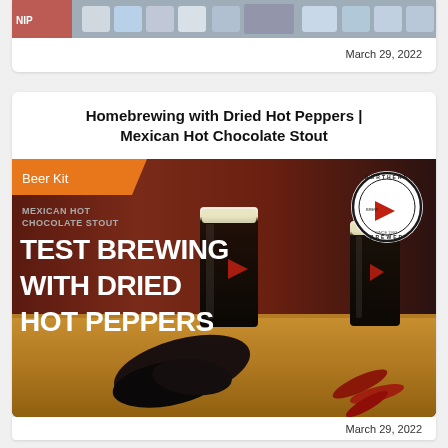[Figure (photo): Top portion of a photo showing homebrewing supplies/bottles on a shelf, cropped at top of page]
March 29, 2022
Homebrewing with Dried Hot Peppers | Mexican Hot Chocolate Stout
[Figure (photo): Promotional image for Northern Brewer Mexican Hot Chocolate Stout beer kit showing two dark stout beers in pint glasses on a wooden table with dried hot peppers. Text overlay reads 'Beer Kit', 'MEXICAN HOT CHOCOLATE STOUT', 'TEST BREWING WITH DRIED HOT PEPPERS'. Northern Brewer logo in top right corner.]
March 29, 2022